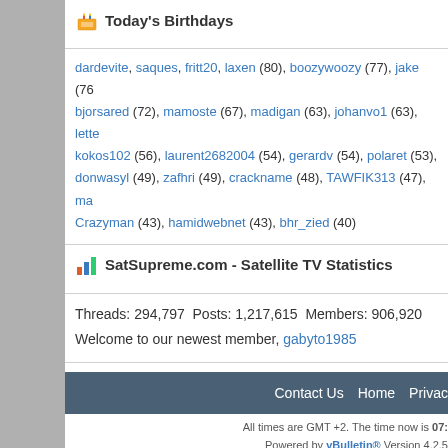Today's Birthdays
dardevite, saques, fritt20, laxen (80), boozywoozy (77), jake (76), bjorsared (72), mamoste (67), madigan (63), johanvo1 (63), lette, kokos102 (56), laurent2682004 (54), gerardv (54), polaret (53), donwasyl (49), zafhri (49), crackname (48), TAWFIK313 (47), ma, Crazyman (43), hamidwebnet (43), bhr_zied (40)
SatSupreme.com - Satellite TV Statistics
Threads: 294,797  Posts: 1,217,615  Members: 906,920
Welcome to our newest member, gabyto1985
Icon Legend
Contains unread forum posts
Contains no unread forum posts
Forum is a category
Forum is a Link
Contact Us  Home  Privac...
All times are GMT +2. The time now is 07:...
Powered by vBulletin® Version 4.2.5
Copyright © 2022 vBulletin Solutions Inc. All righ...
Copyright ©2002 - 2022, SatSupreme...